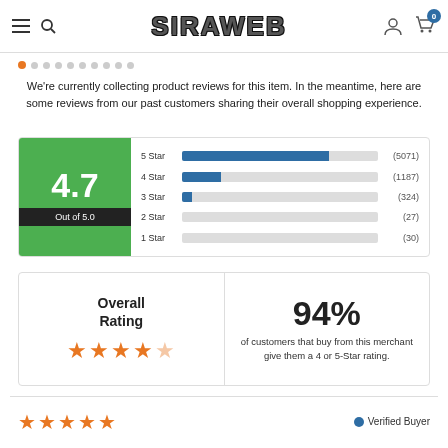SIRAWEB
We're currently collecting product reviews for this item. In the meantime, here are some reviews from our past customers sharing their overall shopping experience.
[Figure (bar-chart): 4.7 Out of 5.0 rating breakdown]
Overall Rating ★★★★☆ 94% of customers that buy from this merchant give them a 4 or 5-Star rating.